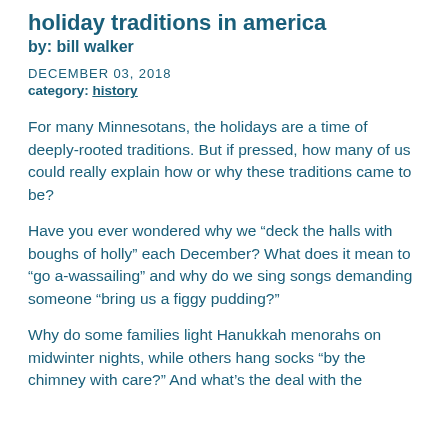holiday traditions in america
by: bill walker
DECEMBER 03, 2018
category: history
For many Minnesotans, the holidays are a time of deeply-rooted traditions. But if pressed, how many of us could really explain how or why these traditions came to be?
Have you ever wondered why we “deck the halls with boughs of holly” each December? What does it mean to “go a-wassailing” and why do we sing songs demanding someone “bring us a figgy pudding?”
Why do some families light Hanukkah menorahs on midwinter nights, while others hang socks “by the chimney with care?” And what’s the deal with the